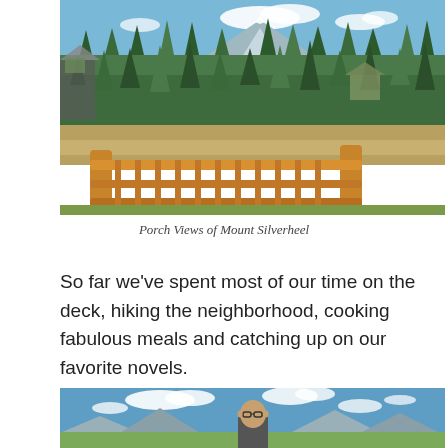[Figure (photo): Outdoor photo taken from a wooden porch/deck with log railing, looking out over pine and evergreen forest with mountain (Mount Silverheel) visible in the background under a blue sky with white clouds.]
Porch Views of Mount Silverheel
So far we've spent most of our time on the deck, hiking the neighborhood, cooking fabulous meals and catching up on our favorite novels.
[Figure (photo): Outdoor photo showing a person (bald, wearing glasses) standing outside with a panoramic mountain landscape and blue sky with white clouds visible behind them.]